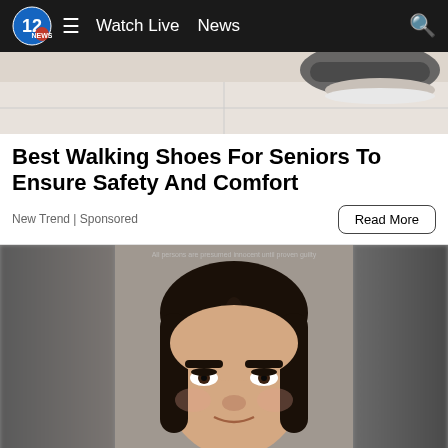Watch Live  News
[Figure (photo): Close-up photo of a shoe on a tiled floor, partially cropped]
Best Walking Shoes For Seniors To Ensure Safety And Comfort
New Trend | Sponsored
Read More
[Figure (photo): Mugshot-style photo of a young woman with long dark hair, centered against a gray background, with blurred partial faces on either side]